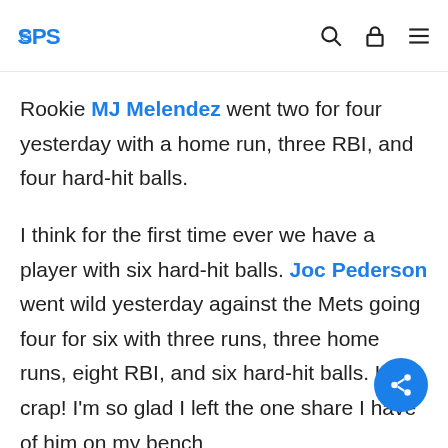SPS logo with navigation icons (search, cart, menu)
Rookie MJ Melendez went two for four yesterday with a home run, three RBI, and four hard-hit balls.

I think for the first time ever we have a player with six hard-hit balls. Joc Pederson went wild yesterday against the Mets going four for six with three runs, three home runs, eight RBI, and six hard-hit balls. Holy crap! I'm so glad I left the one share I have of him on my bench